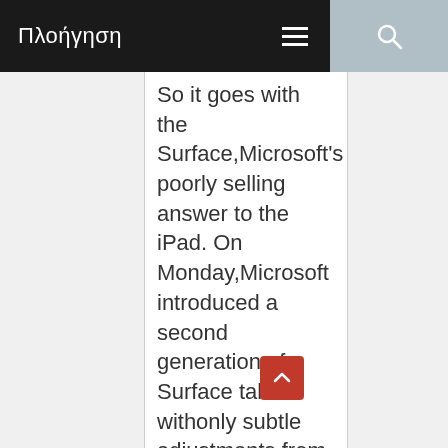Πλοήγηση
So it goes with the Surface,Microsoft's poorly selling answer to the iPad. On Monday,Microsoft introduced a second generation of Surface tablets withonly subtle adjustments from the originals, a sign that thecompany still believes in its vision of devices at